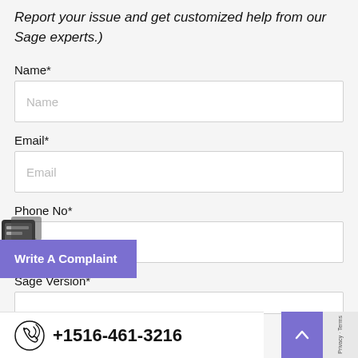Report your issue and get customized help from our Sage experts.)
Name*
Email*
Phone No*
Sage Version*
Write A Complaint
+1516-461-3216
Privacy · Terms